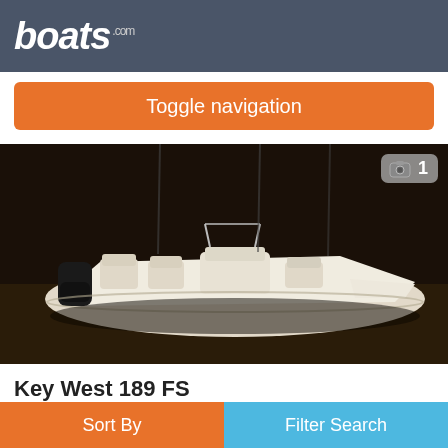boats.com
Toggle navigation
[Figure (photo): A white Key West 189 FS center console boat photographed in a dark indoor/storage setting, showing the boat from a 3/4 rear angle with outboard motor, multiple seats, and a console with windshield.]
Key West 189 FS
Holly Ville, Florida, United States
Sort By
Filter Search